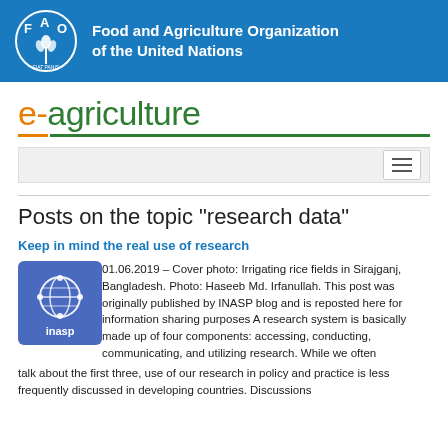[Figure (logo): FAO logo with Food and Agriculture Organization of the United Nations text on blue background]
[Figure (logo): e-agriculture logo in orange and green with decorative underline bars]
[Figure (screenshot): Navigation bar with hamburger menu icon]
Posts on the topic "research data"
Keep in mind the real use of research
[Figure (logo): INASP logo - blue square with globe network and inasp text]
01.06.2019 – Cover photo: Irrigating rice fields in Sirajganj, Bangladesh. Photo: Haseeb Md. Irfanullah. This post was originally published by INASP blog and is reposted here for information sharing purposes A research system is basically made up of four components: accessing, conducting, communicating, and utilizing research. While we often talk about the first three, use of our research in policy and practice is less frequently discussed in developing countries. Discussions